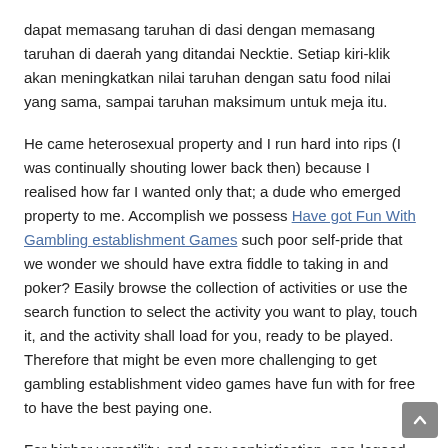dapat memasang taruhan di dasi dengan memasang taruhan di daerah yang ditandai Necktie. Setiap kiri-klik akan meningkatkan nilai taruhan dengan satu food nilai yang sama, sampai taruhan maksimum untuk meja itu.
He came heterosexual property and I run hard into rips (I was continually shouting lower back then) because I realised how far I wanted only that; a dude who emerged property to me. Accomplish we possess Have got Fun With Gambling establishment Games such poor self-pride that we wonder we should have extra fiddle to taking in and poker? Easily browse the collection of activities or use the search function to select the activity you want to play, touch it, and the activity shall load for you, ready to be played. Therefore that might be even more challenging to get gambling establishment video games have fun with for free to have the best paying one.
For higher versatility, and easy sophistication, non-logoed potato